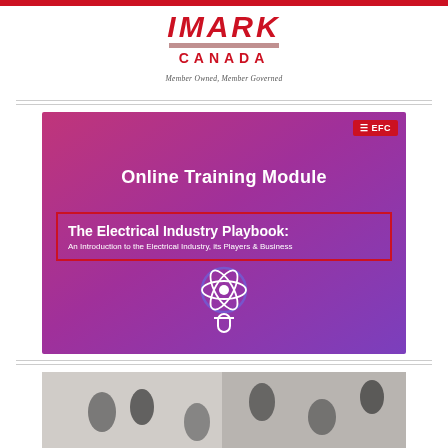[Figure (logo): IMARK CANADA logo with tagline 'Member Owned, Member Governed']
[Figure (illustration): Online Training Module cover image with purple/pink gradient background. Title: 'Online Training Module'. Subtitle box: 'The Electrical Industry Playbook: An Introduction to the Electrical Industry, its Players & Business'. EFC badge in upper right. Atom/electric plug icon at bottom center.]
[Figure (photo): Overhead photo of business people walking/standing in a hallway or lobby area, viewed from above.]